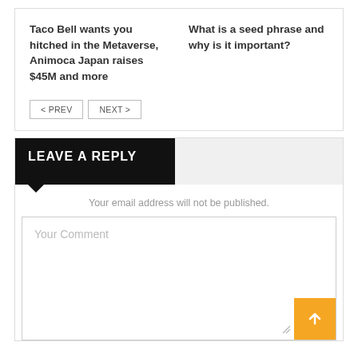Taco Bell wants you hitched in the Metaverse, Animoca Japan raises $45M and more
What is a seed phrase and why is it important?
< PREV
NEXT >
LEAVE A REPLY
Your email address will not be published.
Your Comment